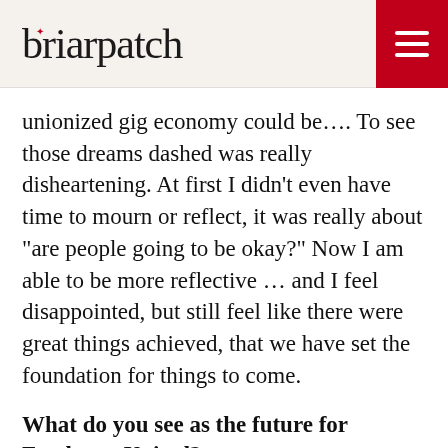briarpatch
unionized gig economy could be…. To see those dreams dashed was really disheartening. At first I didn't even have time to mourn or reflect, it was really about “are people going to be okay?” Now I am able to be more reflective … and I feel disappointed, but still feel like there were great things achieved, that we have set the foundation for things to come.
What do you see as the future for Foodsters United?
Narada: Let me tell you … Foodsters United, throughout its existence, from formation to this day, has never been a certified union, but even so it